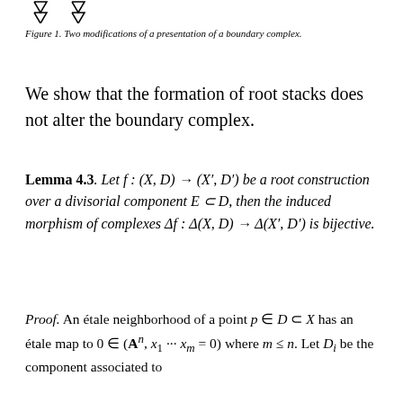[Figure (illustration): Two triangular arrow-like diagrams (modifications of a presentation of a boundary complex)]
Figure 1. Two modifications of a presentation of a boundary complex.
We show that the formation of root stacks does not alter the boundary complex.
Lemma 4.3. Let f : (X, D) → (X′, D′) be a root construction over a divisorial component E ⊂ D, then the induced morphism of complexes Δf : Δ(X, D) → Δ(X′, D′) is bijective.
Proof. An étale neighborhood of a point p ∈ D ⊂ X has an étale map to 0 ∈ (Aⁿ, x₁ ··· xₘ = 0) where m ≤ n. Let Dᵢ be the component associated to xᵢ = 0 and consider the n th root stack (Aⁿ) of